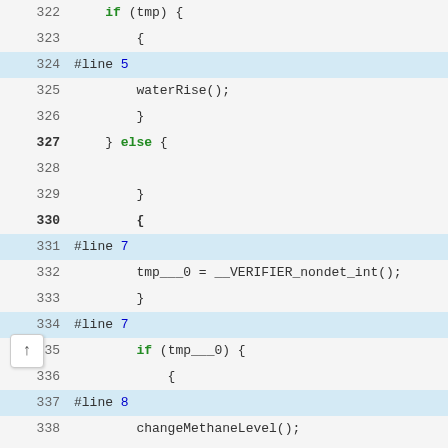[Figure (screenshot): Code viewer showing C/C++ source lines 322-351 with line numbers on the left in a blue-tinted gutter, and code on the right with syntax highlighting. Keywords like 'else' are bold green, #line directives have blue numbers, function calls are in dark text. Lines 330, 340, 350 appear bold.]